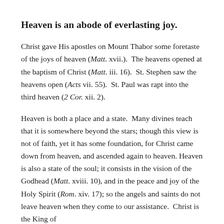Heaven is an abode of everlasting joy.
Christ gave His apostles on Mount Thabor some foretaste of the joys of heaven (Matt. xvii.).  The heavens opened at the baptism of Christ (Matt. iii. 16).  St. Stephen saw the heavens open (Acts vii. 55).  St. Paul was rapt into the third heaven (2 Cor. xii. 2).
Heaven is both a place and a state.  Many divines teach that it is somewhere beyond the stars; though this view is not of faith, yet it has some foundation, for Christ came down from heaven, and ascended again to heaven. Heaven is also a state of the soul; it consists in the vision of the Godhead (Matt. xviii. 10), and in the peace and joy of the Holy Spirit (Rom. xiv. 17); so the angels and saints do not leave heaven when they come to our assistance.  Christ is the King of